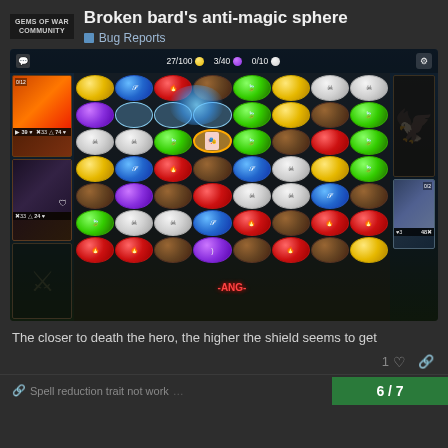GEMS OF WAR COMMUNITY
Broken bard's anti-magic sphere
Bug Reports
[Figure (screenshot): Screenshot of Gems of War mobile game showing a gem-matching puzzle board with colorful gems (yellow, blue, red, purple, green, skull, brown) arranged in an 8x7 grid. A magical blue effect is visible in the upper portion of the board. Left panel shows two character cards with fire and dark characters. Right panel shows a rune symbol and an enemy character. Top bar shows stats: 27/100, 3/40, 0/10.]
The closer to death the hero, the higher the shield seems to get
1
6 / 7
Spell reduction trait not work...